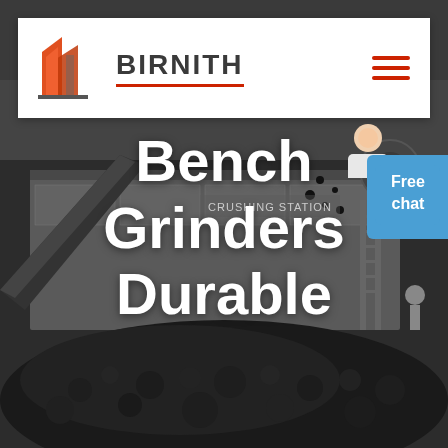[Figure (photo): Industrial crushing station machinery with conveyor belt and large pile of crushed black rock/coal material in the foreground, dark background]
BIRNITH
[Figure (logo): Birnith company logo: orange/red abstract building/construction icon with two overlapping shapes, next to the text BIRNITH in large grey letters with a red underline]
Bench Grinders Durable
[Figure (infographic): Free chat button: blue rounded rectangle with text 'Free chat' in white, positioned at the right edge of the page]